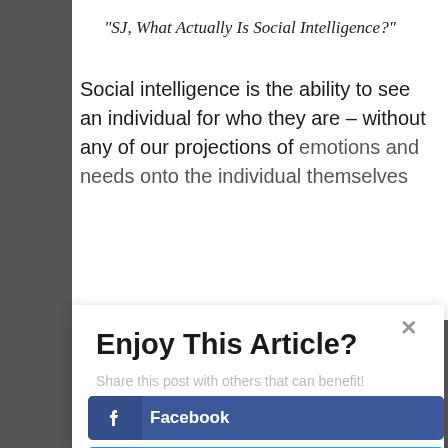“SJ, What Actually Is Social Intelligence?”
Social intelligence is the ability to see an individual for who they are – without any of our projections of emotions and needs onto the individual themselves
Enjoy This Article?
Share this post with others that can benefit!
Facebook
Twitter
Google+
Pinterest